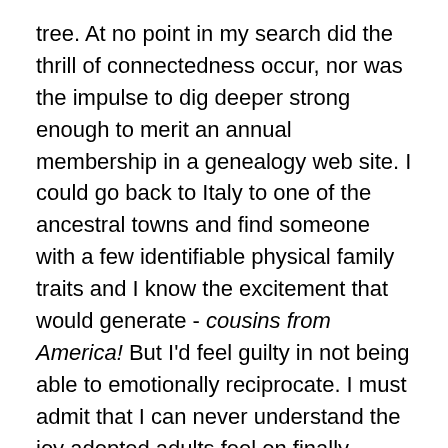tree. At no point in my search did the thrill of connectedness occur, nor was the impulse to dig deeper strong enough to merit an annual membership in a genealogy web site. I could go back to Italy to one of the ancestral towns and find someone with a few identifiable physical family traits and I know the excitement that would generate - cousins from America! But I'd feel guilty in not being able to emotionally reciprocate. I must admit that I can never understand the joy adopted adults feel on finally meeting their “real mamma.” It’s not like they were long-lost, implying a bank of shared memories. I just feel that true familyhood is the sum of our experiences together, and not the thickness of our blood, or the DNA extracted in a tube. But more than anything - the frequency and quality of those experiences. That’s why the obligatory holiday call or the Hallmark sentiments